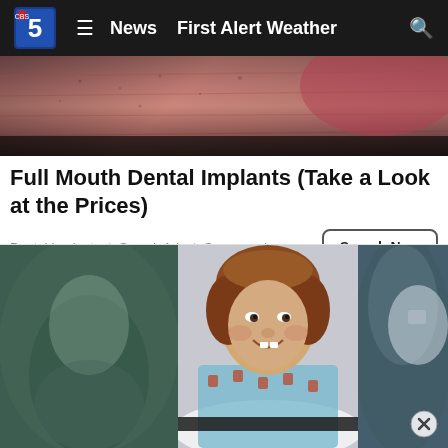News  First Alert Weather
[Figure (photo): Close-up macro photo of human skin texture with reddish-pink tone]
Full Mouth Dental Implants (Take a Look at the Prices)
Dental Implants | Search Ads | Sponsored
[Figure (photo): Composite photo of a young girl with curly hair smiling while lying on a medical table wearing a teal patterned hospital gown, flanked by blurred background images]